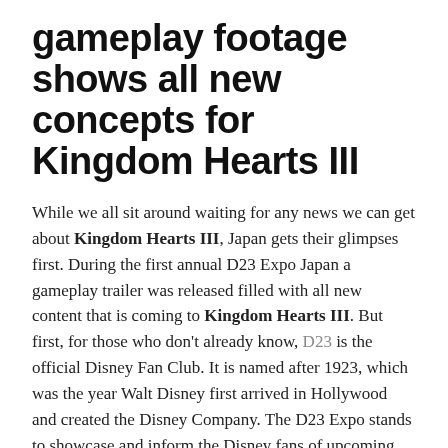gameplay footage shows all new concepts for Kingdom Hearts III
While we all sit around waiting for any news we can get about Kingdom Hearts III, Japan gets their glimpses first. During the first annual D23 Expo Japan a gameplay trailer was released filled with all new content that is coming to Kingdom Hearts III. But first, for those who don't already know, D23 is the official Disney Fan Club. It is named after 1923, which was the year Walt Disney first arrived in Hollywood and created the Disney Company. The D23 Expo stands to showcase and inform the Disney fans of upcoming changes to the Disney universe, whether those changes relate to theme parks, movies, or video games. This year was the first year that Japan had their own Expo.